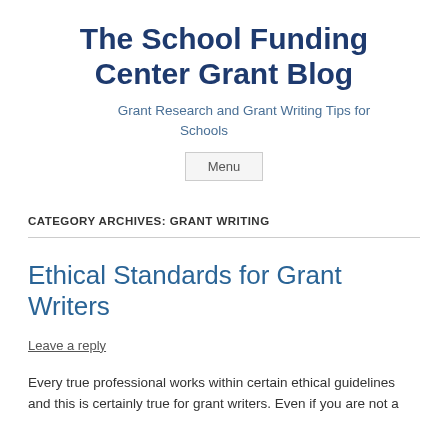The School Funding Center Grant Blog
Grant Research and Grant Writing Tips for Schools
Menu
CATEGORY ARCHIVES: GRANT WRITING
Ethical Standards for Grant Writers
Leave a reply
Every true professional works within certain ethical guidelines and this is certainly true for grant writers. Even if you are not a